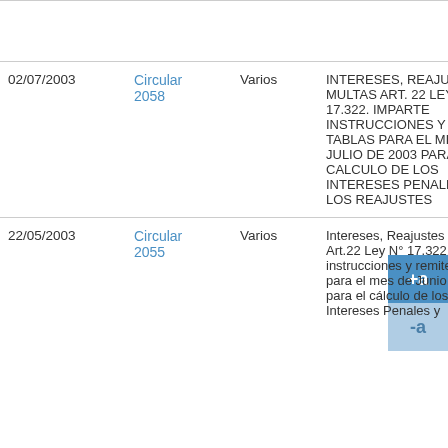| Fecha | Tipo | Área | Materia |
| --- | --- | --- | --- |
| 02/07/2003 | Circular 2058 | Varios | INTERESES, REAJUSTES Y MULTAS ART. 22 LEY N° 17.322. IMPARTE INSTRUCCIONES Y REMITE TABLAS PARA EL MES DE JULIO DE 2003 PARA EL CALCULO DE LOS INTERESES PENALES Y DE LOS REAJUSTES |
| 22/05/2003 | Circular 2055 | Varios | Intereses, Reajustes y Multas Art.22 Ley N° 17.322. Imparte instrucciones y remite tablas para el mes de Junio de 2003 para el cálculo de los Intereses Penales y... |